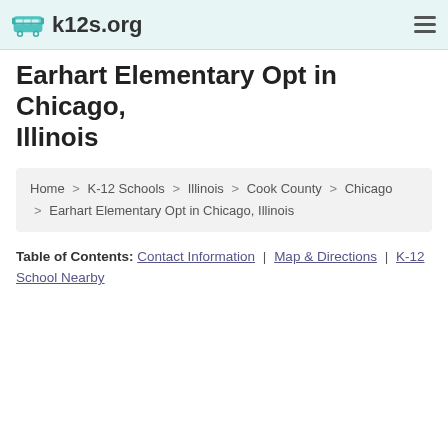k12s.org
Earhart Elementary Opt in Chicago, Illinois
Home > K-12 Schools > Illinois > Cook County > Chicago > Earhart Elementary Opt in Chicago, Illinois
Table of Contents: Contact Information | Map & Directions | K-12 School Nearby